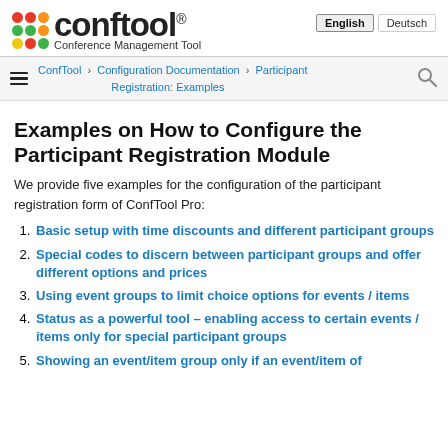[Figure (logo): ConfTool Conference Management Tool logo with colorful dot grid and wordmark]
English | Deutsch
ConfTool > Configuration Documentation > Participant Registration: Examples
Examples on How to Configure the Participant Registration Module
We provide five examples for the configuration of the participant registration form of ConfTool Pro:
Basic setup with time discounts and different participant groups
Special codes to discern between participant groups and offer different options and prices
Using event groups to limit choice options for events / items
Status as a powerful tool – enabling access to certain events / items only for special participant groups
Showing an event/item group only if an event/item of